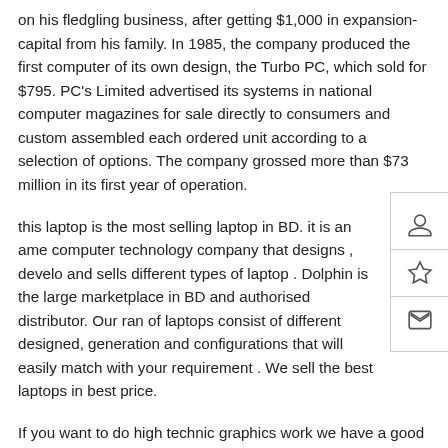on his fledgling business, after getting $1,000 in expansion-capital from his family. In 1985, the company produced the first computer of its own design, the Turbo PC, which sold for $795. PC's Limited advertised its systems in national computer magazines for sale directly to consumers and custom assembled each ordered unit according to a selection of options. The company grossed more than $73 million in its first year of operation.
this laptop is the most selling laptop in BD. it is an american computer technology company that designs , develops and sells different types of laptop . Dolphin is the largest marketplace in BD and authorised distributor. Our range of laptops consist of different designed, generation and configurations that will easily match with your requirement . We sell the best laptops in best price.
If you want to do high technic graphics work we have a good range of laptops that come along with graphic card, that make your work more easy. Dell Laptop comes with a 3 years warranty that gives you an opportunity to use your